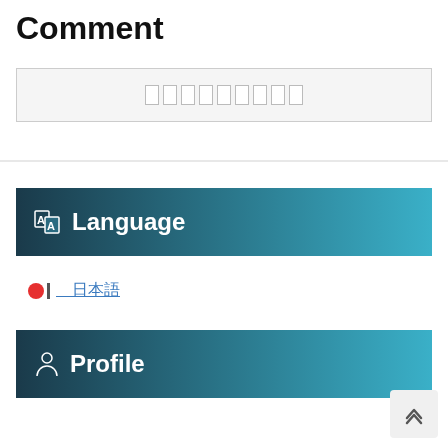Comment
[Figure (other): Text input field with placeholder characters (redacted/blurred text)]
Language
Japanese flag icon with link text (Japanese characters)
Profile